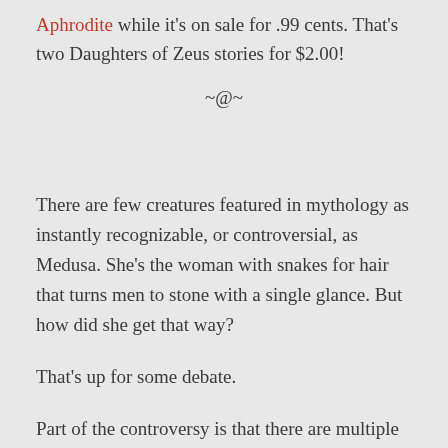Aphrodite while it's on sale for .99 cents. That's two Daughters of Zeus stories for $2.00!
~@~
There are few creatures featured in mythology as instantly recognizable, or controversial, as Medusa. She's the woman with snakes for hair that turns men to stone with a single glance. But how did she get that way?
That's up for some debate.
Part of the controversy is that there are multiple origin stories for Medusa in mythology. In the earliest versions of the myth she was always a monster, born and raised